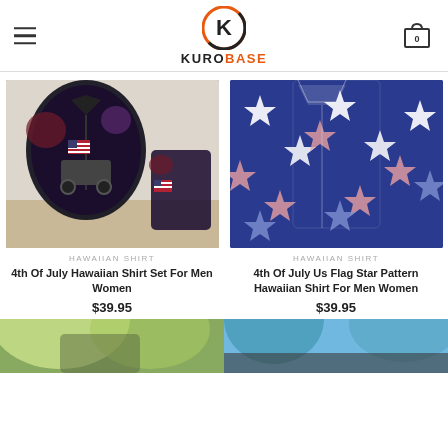KUROBASE
[Figure (photo): 4th of July Hawaiian Shirt Set For Men Women - black background with monster truck and American flag pattern, shown as shirt and shorts set]
HAWAIIAN SHIRT
4th Of July Hawaiian Shirt Set For Men Women
$39.95
[Figure (photo): 4th of July Us Flag Star Pattern Hawaiian Shirt For Men Women - navy blue shirt with red and white star pattern]
HAWAIIAN SHIRT
4th Of July Us Flag Star Pattern Hawaiian Shirt For Men Women
$39.95
[Figure (photo): Partial product image at bottom left - tropical/olive colored Hawaiian shirt]
[Figure (photo): Partial product image at bottom right - tropical blue sky background Hawaiian shirt]